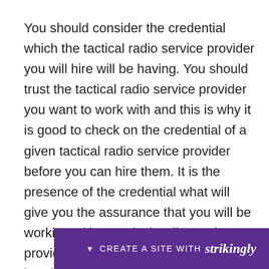You should consider the credential which the tactical radio service provider you will hire will be having. You should trust the tactical radio service provider you want to work with and this is why it is good to check on the credential of a given tactical radio service provider before you can hire them. It is the presence of the credential what will give you the assurance that you will be working with a tactical radio service provider that has passed through the hands of the government and has been checked and confirmed to be having all the requirements needed to provide services to their clien[t. When you hire a licensed tactical radio service provider, you] will g[et a qualified tactical ra]dio
[Figure (other): Purple banner at bottom of page with 'CREATE A SITE WITH strikingly' text and a downward arrow on the left]